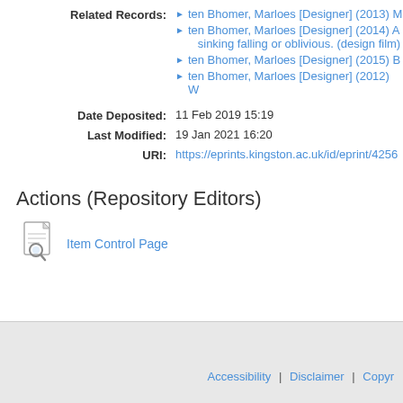Related Records: ten Bhomer, Marloes [Designer] (2013) M... | ten Bhomer, Marloes [Designer] (2014) A... sinking falling or oblivious. (design film) | ten Bhomer, Marloes [Designer] (2015) B... | ten Bhomer, Marloes [Designer] (2012) W...
Date Deposited: 11 Feb 2019 15:19
Last Modified: 19 Jan 2021 16:20
URI: https://eprints.kingston.ac.uk/id/eprint/4256
Actions (Repository Editors)
Item Control Page
Accessibility | Disclaimer | Copyr...